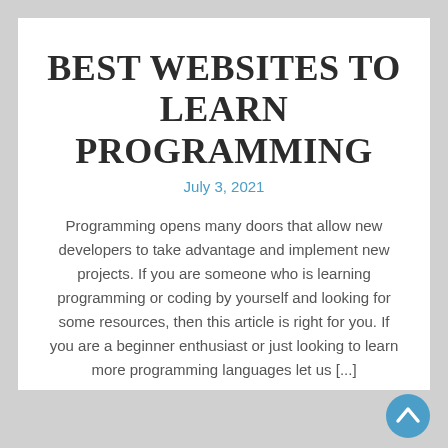BEST WEBSITES TO LEARN PROGRAMMING
July 3, 2021
Programming opens many doors that allow new developers to take advantage and implement new projects. If you are someone who is learning programming or coding by yourself and looking for some resources, then this article is right for you. If you are a beginner enthusiast or just looking to learn more programming languages let us [...]